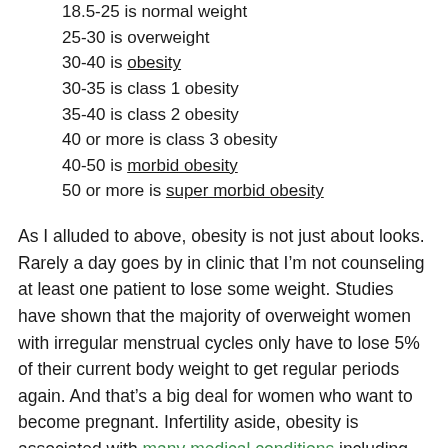18.5-25 is normal weight
25-30 is overweight
30-40 is obesity
30-35 is class 1 obesity
35-40 is class 2 obesity
40 or more is class 3 obesity
40-50 is morbid obesity
50 or more is super morbid obesity
As I alluded to above, obesity is not just about looks. Rarely a day goes by in clinic that I’m not counseling at least one patient to lose some weight. Studies have shown that the majority of overweight women with irregular menstrual cycles only have to lose 5% of their current body weight to get regular periods again. And that’s a big deal for women who want to become pregnant. Infertility aside, obesity is associated with many medical conditions including heart disease, stroke, type 2 diabetes and certain types of cancer, some of the leading causes of preventable death.